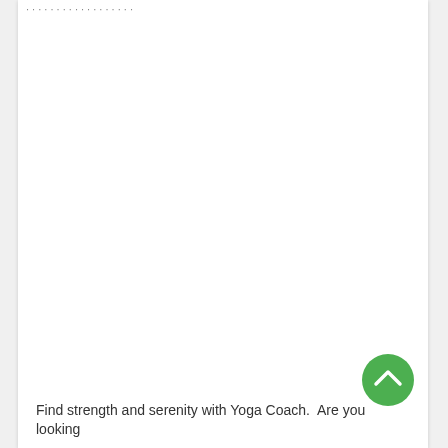...pp...g...
[Figure (illustration): Green circular FAB button with upward-pointing chevron/arrow icon]
Find strength and serenity with Yoga Coach.  Are you looking